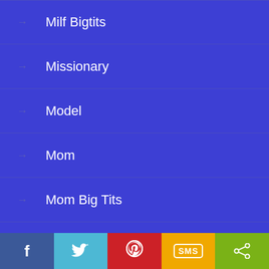Milf Bigtits
Missionary
Model
Mom
Mom Big Tits
More
Mother
N
Nasty
f  Twitter  Pinterest  SMS  Share